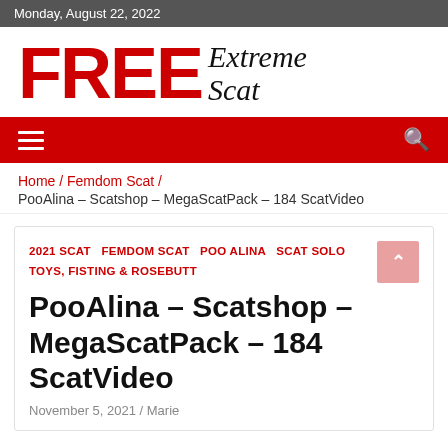Monday, August 22, 2022
[Figure (logo): FREE Extreme Scat website logo — FREE in large red bold letters with 'Extreme Scat' in cursive script]
[Figure (infographic): Red navigation bar with hamburger menu icon on left and search icon on right]
Home / Femdom Scat / PooAlina – Scatshop – MegaScatPack – 184 ScatVideo
2021 SCAT  FEMDOM SCAT  POO ALINA  SCAT SOLO  TOYS, FISTING & ROSEBUTT
PooAlina – Scatshop – MegaScatPack – 184 ScatVideo
November 5, 2021 / Marie